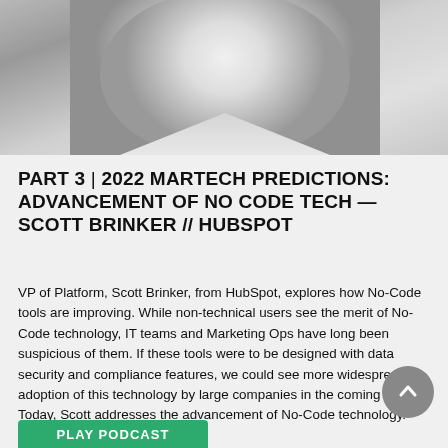[Figure (photo): Black and white portrait photo of a man (Scott Brinker) from HubSpot, shown from shoulders up, smiling.]
PART 3 | 2022 MARTECH PREDICTIONS: ADVANCEMENT OF NO CODE TECH — SCOTT BRINKER // HUBSPOT
VP of Platform, Scott Brinker, from HubSpot, explores how No-Code tools are improving. While non-technical users see the merit of No-Code technology, IT teams and Marketing Ops have long been suspicious of them. If these tools were to be designed with data security and compliance features, we could see more widespread adoption of this technology by large companies in the coming future. Today, Scott addresses the advancement of No-Code technology.
PLAY PODCAST